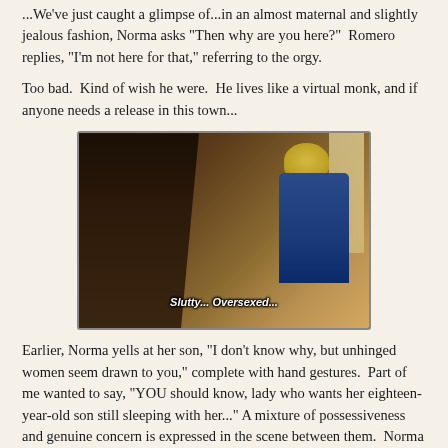...We've just caught a glimpse of...in an almost maternal and slightly jealous fashion, Norma asks "Then why are you here?"  Romero replies, "I'm not here for that," referring to the orgy.
Too bad.  Kind of wish he were.  He lives like a virtual monk, and if anyone needs a release in this town...
[Figure (screenshot): A screenshot from a TV show showing two characters facing each other. A person with dark hair seen from behind on the left, and a blonde woman in a blue jacket on the right. Subtitle text reads: 'Slutty... Oversexed...']
Earlier, Norma yells at her son, "I don't know why, but unhinged women seem drawn to you," complete with hand gestures.  Part of me wanted to say, "YOU should know, lady who wants her eighteen-year-old son still sleeping with her..." A mixture of possessiveness and genuine concern is expressed in the scene between them.  Norma is both frustrated and fearful, and finds no recourse or easy solution.  The fact that Norman thinks Annika is a 'nice girl' should be setting alarm bells like crazy.  The fact that at